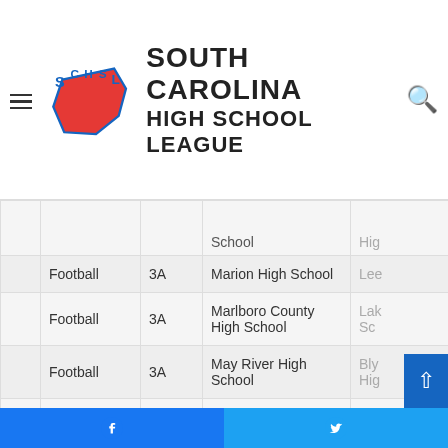[Figure (logo): South Carolina High School League (SCHSL) logo with blue and red state silhouette and stylized letters]
SOUTH CAROLINA HIGH SCHOOL LEAGUE
|  | Sport | Class | Home Team | Away Team |
| --- | --- | --- | --- | --- |
|  |  |  | School | Hig... |
|  | Football | 3A | Marion High School | Lee... |
|  | Football | 3A | Marlboro County High School | Lak... Sc... |
|  | Football | 3A | May River High School | Bly... Hig... |
|  | Football | 3A | Pendleton High School | SC... |